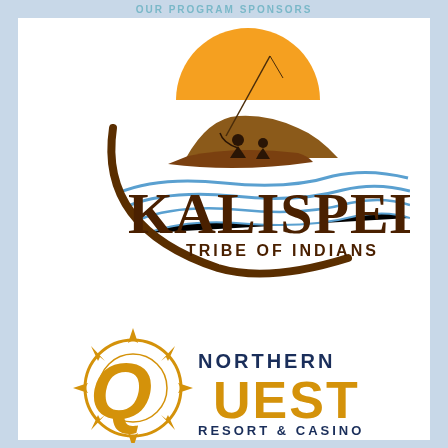OUR PROGRAM SPONSORS
[Figure (logo): Kalispel Tribe of Indians logo featuring a person fishing in a boat with an orange sun and blue water waves]
[Figure (logo): Northern Quest Resort & Casino logo with a golden compass/sun symbol and dark blue lettering]